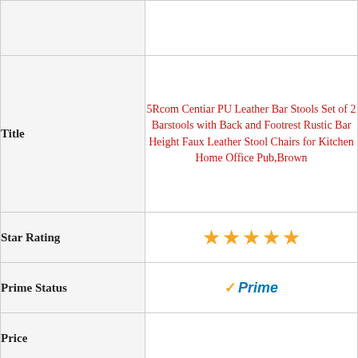| Field | Value |
| --- | --- |
|  |  |
| Title | 5Rcom Centiar PU Leather Bar Stools Set of 2 Barstools with Back and Footrest Rustic Bar Height Faux Leather Stool Chairs for Kitchen Home Office Pub,Brown |
| Star Rating | ★★★★★ |
| Prime Status | ✓Prime |
| Price |  |
| Buy Now | Buy On Amazon.com |